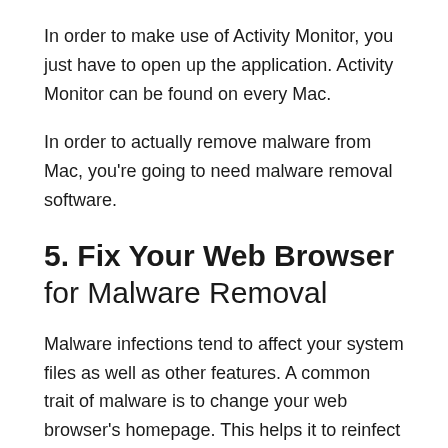In order to make use of Activity Monitor, you just have to open up the application. Activity Monitor can be found on every Mac.
In order to actually remove malware from Mac, you're going to need malware removal software.
5. Fix Your Web Browser for Malware Removal
Malware infections tend to affect your system files as well as other features. A common trait of malware is to change your web browser's homepage. This helps it to reinfect your computer and also display ads and pop-ups.
Before you start up your web browser, check your connection